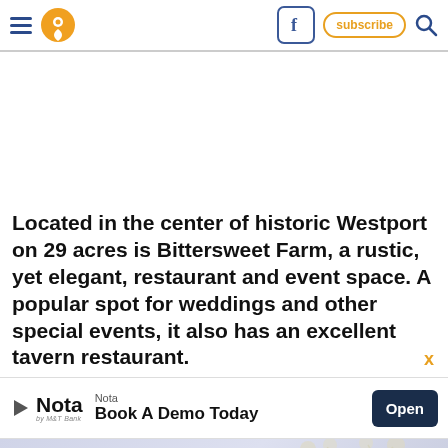Navigation header with hamburger menu, location pin icon, Facebook icon, Subscribe button, Search icon
Located in the center of historic Westport on 29 acres is Bittersweet Farm, a rustic, yet elegant, restaurant and event space. A popular spot for weddings and other special events, it also has an excellent tavern restaurant.
[Figure (screenshot): Advertisement banner for Nota by M&T Bank with play icon, Nota logo, tagline 'Book A Demo Today', and dark blue Open button]
[Figure (photo): Bottom portion showing a light blue-grey winter outdoor scene with bare trees]